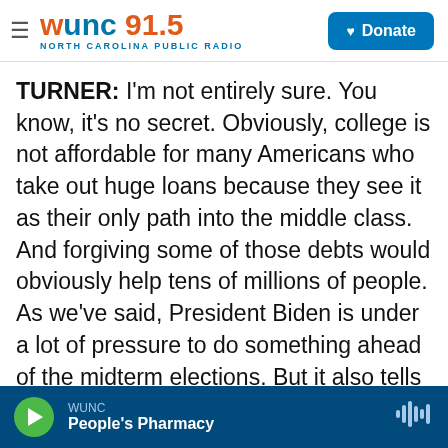WUNC 91.5 NORTH CAROLINA PUBLIC RADIO | Donate
TURNER: I'm not entirely sure. You know, it's no secret. Obviously, college is not affordable for many Americans who take out huge loans because they see it as their only path into the middle class. And forgiving some of those debts would obviously help tens of millions of people. As we've said, President Biden is under a lot of pressure to do something ahead of the midterm elections. But it also tells us, you know, erasing debts without changing the system that created them is really fraught. The problem is President Biden's plans to make college more affordable up to this point haven't gotten very far. And on this fall, you know, who's going to see...
WUNC | People's Pharmacy